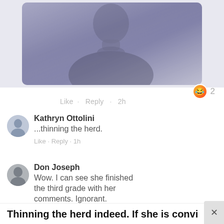[Figure (photo): Partial photo of a person in a dark shirt, upper body and face partially visible, slightly blurred or faded]
Like · Reply · 2h
Kathryn Ottolini
...thinning the herd.
Like · Reply · 1h
Don Joseph
Wow. I can see she finished the third grade with her comments. Ignorant.
Like · Reply · 1h
Thinning the herd indeed. If she is convicted o